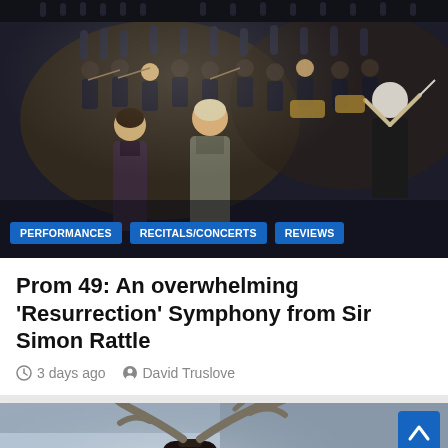[Figure (photo): Orchestra performance photo showing two women in formal gowns on stage with an orchestra and conductor with back to camera in a concert hall]
PERFORMANCES
RECITALS/CONCERTS
REVIEWS
Prom 49: An overwhelming 'Resurrection' Symphony from Sir Simon Rattle
3 days ago   David Truslove
[Figure (photo): A performer in theatrical costume with large antlers/horns on their head, wearing dark fur-like clothing, with an expression of surprise or alarm]